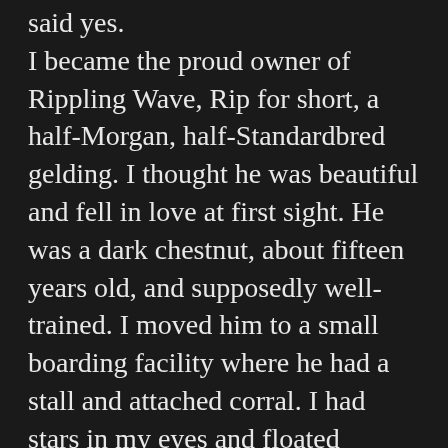said yes. I became the proud owner of Rippling Wave, Rip for short, a half-Morgan, half-Standardbred gelding. I thought he was beautiful and fell in love at first sight. He was a dark chestnut, about fifteen years old, and supposedly well-trained. I moved him to a small boarding facility where he had a stall and attached corral. I had stars in my eyes and floated through the next few days. When Saturday came, I saddled and bridled Rip and led him through a pasture to the trail behind the property. Taking a deep breath, I mounted up and, for the first time in my life, was riding my own horse. What I hadn't counted on, and was too green to notice, was that Rip hadn't been ridden in a